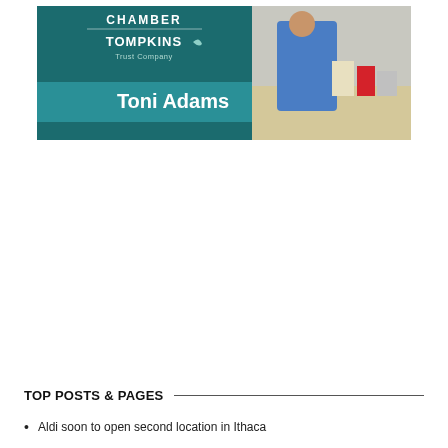[Figure (photo): Promotional card for Tompkins Chamber featuring Tompkins Trust Company sponsor logo on a teal/dark green background with 'Toni Adams' in white bold text on a teal banner, and a photo of a person in blue working at a table with boxes/goods.]
TOP POSTS & PAGES
Aldi soon to open second location in Ithaca